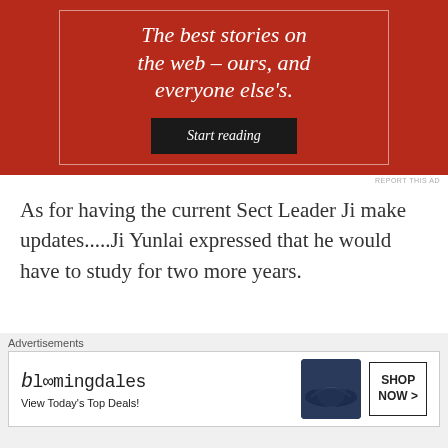[Figure (other): Red advertisement banner with white italic text reading 'The best stories on the web – ours, and everyone else's.' and a black 'Start reading' button, inside a thin white border]
REPORT THIS AD
As for having the current Sect Leader Ji make updates.....Ji Yunlai expressed that he would have to study for two more years.
So he decided to first examine Xiao Qing's Foundation Establishment mental cultivation
[Figure (other): Bloomingdale's advertisement showing logo, 'View Today's Top Deals!' tagline, a woman wearing a large navy hat, and a 'SHOP NOW >' button]